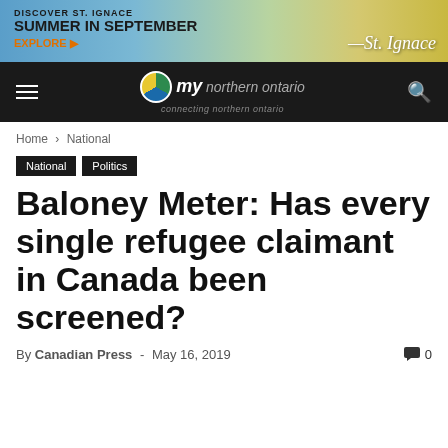[Figure (screenshot): Advertisement banner for St. Ignace: 'Discover St. Ignace – Summer in September – Explore']
[Figure (logo): Navigation bar with hamburger menu, 'my [northern ontario]' logo with tagline 'connecting northern ontario', and search icon on dark background]
Home › National
National   Politics
Baloney Meter: Has every single refugee claimant in Canada been screened?
By Canadian Press - May 16, 2019    0